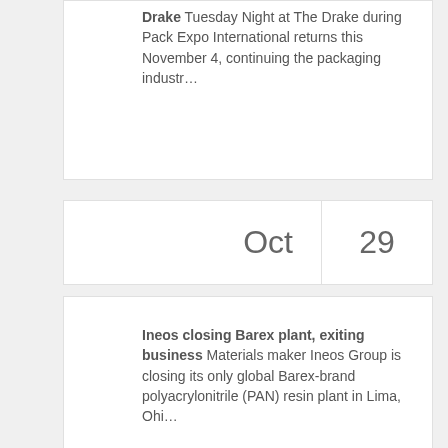Drake Tuesday Night at The Drake during Pack Expo International returns this November 4, continuing the packaging industr…
Oct  29
Ineos closing Barex plant, exiting business Materials maker Ineos Group is closing its only global Barex-brand polyacrylonitrile (PAN) resin plant in Lima, Ohi…